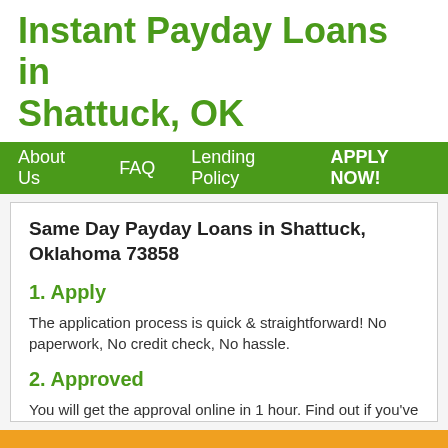Instant Payday Loans in Shattuck, OK
About Us  FAQ  Lending Policy  APPLY NOW!
Same Day Payday Loans in Shattuck, Oklahoma 73858
1. Apply
The application process is quick & straightforward! No paperwork, No credit check, No hassle.
2. Approved
You will get the approval online in 1 hour. Find out if you've been
APPLY